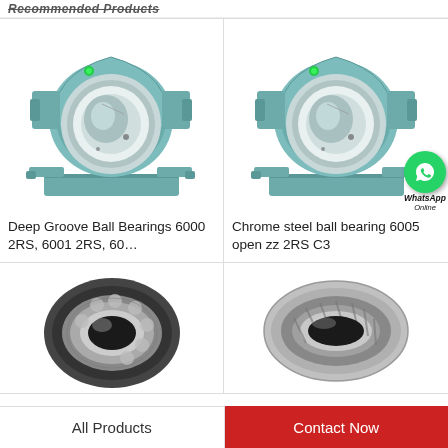Recommended Products
[Figure (photo): Pillow block bearing (green cast iron housing with steel ball bearing insert) - product 1]
Deep Groove Ball Bearings 6000 2RS, 6001 2RS, 60…
[Figure (photo): Pillow block bearing (green cast iron housing with steel ball bearing insert) with WhatsApp Online overlay - product 2]
Chrome steel ball bearing 6005 open zz 2RS C3
[Figure (photo): Small angular contact or deep groove ball bearing - bottom left product]
[Figure (photo): Tapered roller bearing - bottom right product]
All Products | Contact Now